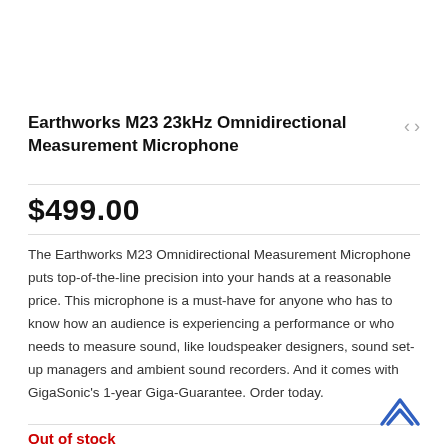Earthworks M23 23kHz Omnidirectional Measurement Microphone
$499.00
The Earthworks M23 Omnidirectional Measurement Microphone puts top-of-the-line precision into your hands at a reasonable price. This microphone is a must-have for anyone who has to know how an audience is experiencing a performance or who needs to measure sound, like loudspeaker designers, sound set-up managers and ambient sound recorders. And it comes with GigaSonic's 1-year Giga-Guarantee. Order today.
Out of stock